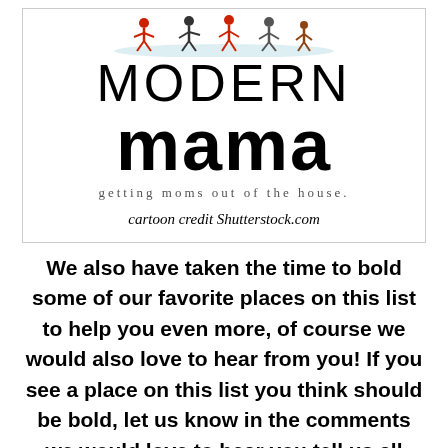[Figure (logo): Modern Mama logo with cartoon illustration of people on a white oval platform, large bold text 'MODERN mama', tagline 'getting moms out of the house.', and credit 'cartoon credit Shutterstock.com']
We also have taken the time to bold some of our favorite places on this list to help you even more, of course we would also love to hear from you! If you see a place on this list you think should be bold, let us know in the comments we would love to hear you tell us all about your